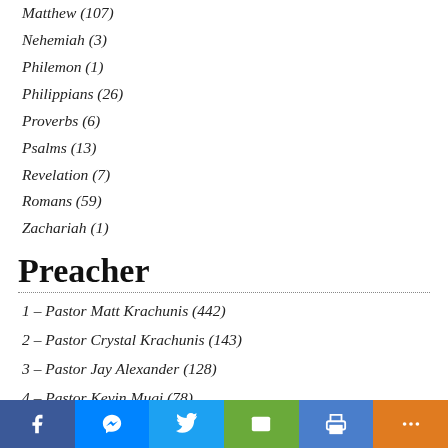Matthew (107)
Nehemiah (3)
Philemon (1)
Philippians (26)
Proverbs (6)
Psalms (13)
Revelation (7)
Romans (59)
Zachariah (1)
Preacher
1 – Pastor Matt Krachunis (442)
2 – Pastor Crystal Krachunis (143)
3 – Pastor Jay Alexander (128)
4 – Pastor Kevin Mugi (78)
Bishop Raymond Burch (2)